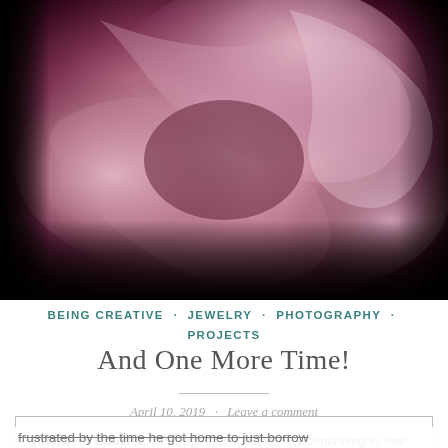[Figure (photo): Close-up macro photograph of pink rose petals with soft focus, showing swirling petal textures in shades of pink, mauve, and dark edges fading to black]
BEING CREATIVE · JEWELRY · PHOTOGRAPHY · PROJECTS
And One More Time!
April 10, 2019 · Leave a comment
Privacy & Cookies: This site uses cookies. By continuing to use this website, you agree to their use.
To find out more, including how to control cookies, see here: Cookie Policy
Close and accept
frustrated by the time he got home to just borrow